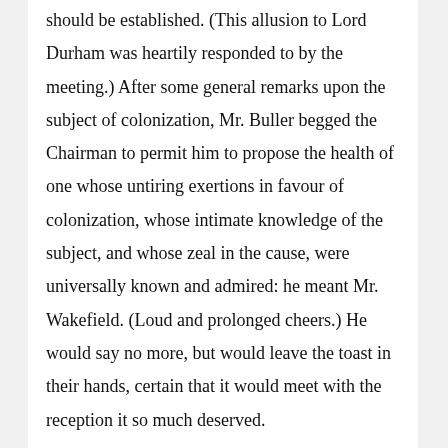should be established. (This allusion to Lord Durham was heartily responded to by the meeting.) After some general remarks upon the subject of colonization, Mr. Buller begged the Chairman to permit him to propose the health of one whose untiring exertions in favour of colonization, whose intimate knowledge of the subject, and whose zeal in the cause, were universally known and admired: he meant Mr. Wakefield. (Loud and prolonged cheers.) He would say no more, but would leave the toast in their hands, certain that it would meet with the reception it so much deserved.